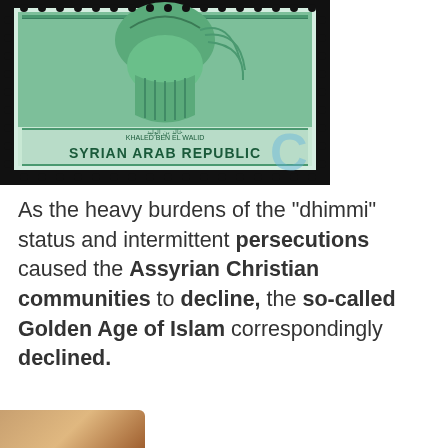[Figure (photo): A green postage stamp from the Syrian Arab Republic featuring a portrait, with Arabic text and 'KHALED BEN EL WALID' inscription, with a watermark 'C' overlay.]
As the heavy burdens of the "dhimmi" status and intermittent persecutions caused the Assyrian Christian communities to decline, the so-called Golden Age of Islam correspondingly declined.